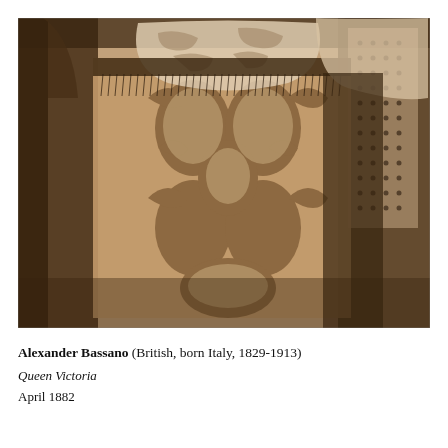[Figure (photo): Sepia-toned photograph showing Queen Victoria in elaborate lace and brocade dress with dark fringe trim, seated in an interior setting. The image is cropped to show the lower body and clothing detail prominently.]
Alexander Bassano (British, born Italy, 1829-1913)
Queen Victoria
April 1882